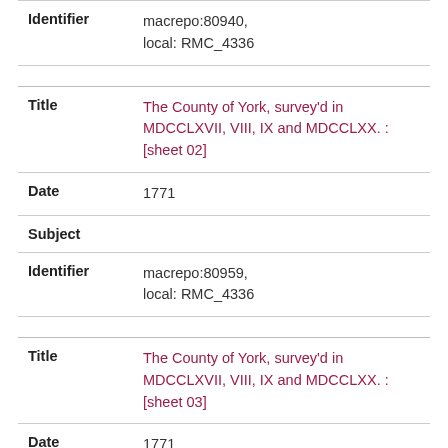Identifier: macrepo:80940, local: RMC_4336
Title: The County of York, survey'd in MDCCLXVII, VIII, IX and MDCCLXX. : [sheet 02]
Date: 1771
Subject:
Identifier: macrepo:80959, local: RMC_4336
Title: The County of York, survey'd in MDCCLXVII, VIII, IX and MDCCLXX. : [sheet 03]
Date: 1771